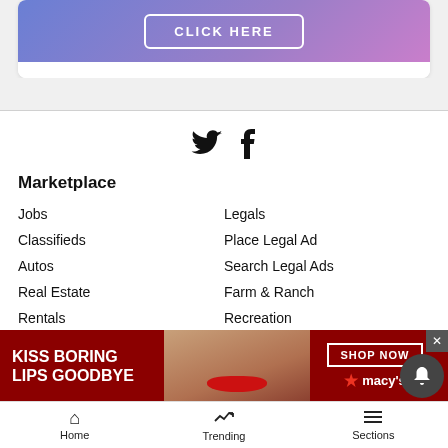[Figure (screenshot): Advertisement banner with gradient blue-purple background and 'CLICK HERE' button]
[Figure (infographic): Twitter and Facebook social media icons]
Marketplace
Jobs
Legals
Classifieds
Place Legal Ad
Autos
Search Legal Ads
Real Estate
Farm & Ranch
Rentals
Recreation
Service Directory
Announcements
Pets
Merchandise
[Figure (photo): Macy's advertisement: 'KISS BORING LIPS GOODBYE' with woman wearing red lipstick and 'SHOP NOW' button]
Home  Trending  Sections